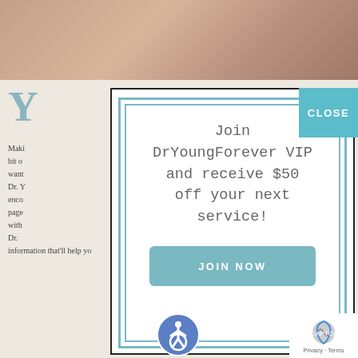[Figure (screenshot): Screenshot of a medical spa website (DrYoungForever) with a popup modal overlay. The modal contains a VIP membership offer: 'Join DrYoungForever VIP and receive $50 off your next service!' with a teal 'JOIN NOW' button and a teal 'CLOSE' button in the top right corner. The background shows a webpage with skin-toned header image and article text partially visible.]
Join DrYoungForever VIP and receive $50 off your next service!
JOIN NOW
CLOSE
Making... in a bit o... aff want... hy Dr. Y... We enco... ure page... on with... on Dr. information that'll help you prepare for your visit us.